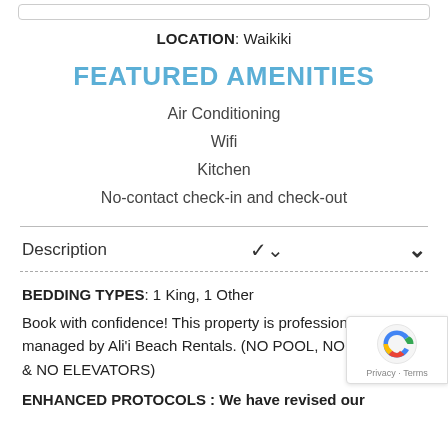LOCATION: Waikiki
FEATURED AMENITIES
Air Conditioning
Wifi
Kitchen
No-contact check-in and check-out
Description
BEDDING TYPES: 1 King, 1 Other
Book with confidence! This property is professionally managed by Ali'i Beach Rentals. (NO POOL, NO PARKING & NO ELEVATORS)
ENHANCED PROTOCOLS : We have revised our